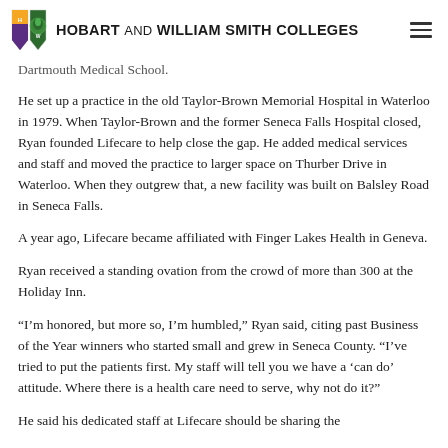HOBART AND WILLIAM SMITH COLLEGES
Dartmouth Medical School.
He set up a practice in the old Taylor-Brown Memorial Hospital in Waterloo in 1979. When Taylor-Brown and the former Seneca Falls Hospital closed, Ryan founded Lifecare to help close the gap. He added medical services and staff and moved the practice to larger space on Thurber Drive in Waterloo. When they outgrew that, a new facility was built on Balsley Road in Seneca Falls.
A year ago, Lifecare became affiliated with Finger Lakes Health in Geneva.
Ryan received a standing ovation from the crowd of more than 300 at the Holiday Inn.
“I’m honored, but more so, I’m humbled,” Ryan said, citing past Business of the Year winners who started small and grew in Seneca County. “I’ve tried to put the patients first. My staff will tell you we have a ‘can do’ attitude. Where there is a health care need to serve, why not do it?”
He said his dedicated staff at Lifecare should be sharing the